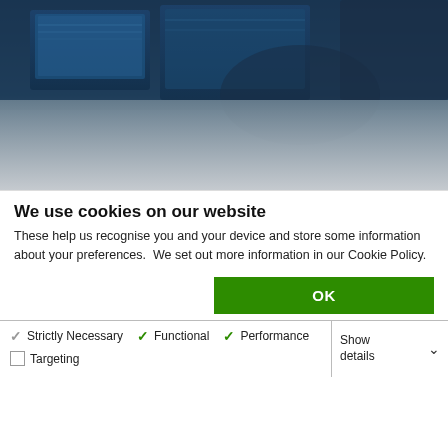[Figure (photo): Dark background photo of a person working at a computer/monitor setup, with bluish-tinted screen glow, fading to light gray at the bottom.]
We use cookies on our website
These help us recognise you and your device and store some information about your preferences.  We set out more information in our Cookie Policy.
Strictly Necessary (checked, gray), Functional (checked, green), Performance (checked, green), Targeting (unchecked)
Show details